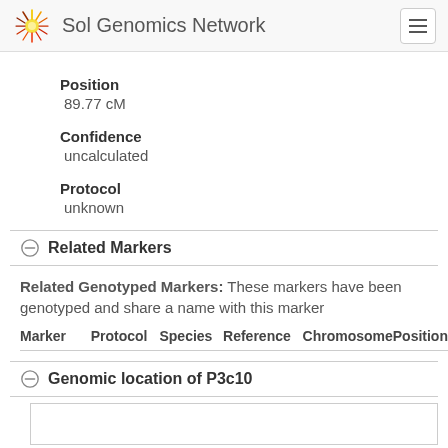Sol Genomics Network
Position
89.77 cM
Confidence
uncalculated
Protocol
unknown
Related Markers
Related Genotyped Markers: These markers have been genotyped and share a name with this marker
| Marker | Protocol | Species | Reference | Chromosome | Position |
| --- | --- | --- | --- | --- | --- |
Genomic location of P3c10